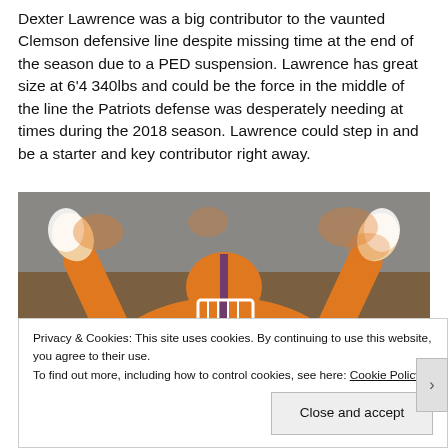Dexter Lawrence was a big contributor to the vaunted Clemson defensive line despite missing time at the end of the season due to a PED suspension. Lawrence has great size at 6'4 340lbs and could be the force in the middle of the line the Patriots defense was desperately needing at times during the 2018 season. Lawrence could step in and be a starter and key contributor right away.
[Figure (photo): Football player in orange Clemson uniform with arms raised, wearing helmet, in a stadium setting]
Privacy & Cookies: This site uses cookies. By continuing to use this website, you agree to their use.
To find out more, including how to control cookies, see here: Cookie Policy
Close and accept